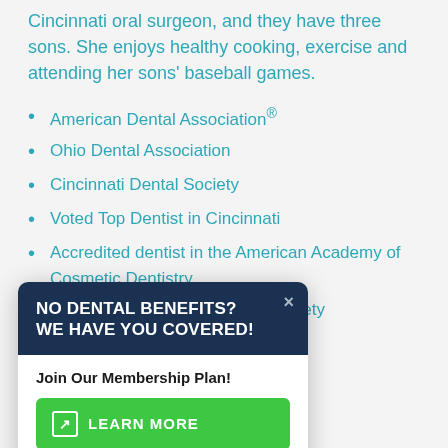Cincinnati oral surgeon, and they have three sons. She enjoys healthy cooking, exercise and attending her sons' baseball games.
American Dental Association®
Ohio Dental Association
Cincinnati Dental Society
Voted Top Dentist in Cincinnati
Accredited dentist in the American Academy of Cosmetic Dentistry
Member of the Dental Honor Society … isilon
… Hospital in Dayton,
[Figure (screenshot): Popup overlay with dark navy header reading 'NO DENTAL BENEFITS? WE HAVE YOU COVERED!' with a close button (×), and white body containing 'Join Our Membership Plan!' subheadline and a green 'LEARN MORE' button with an external link icon.]